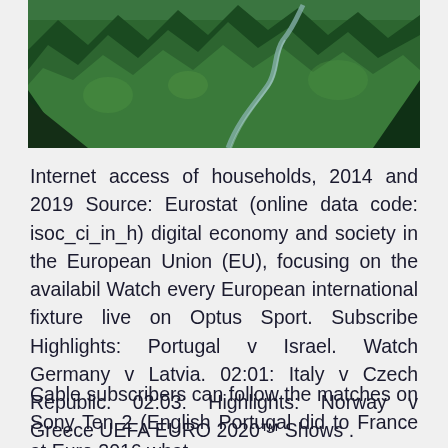[Figure (photo): Aerial view of a winding road through dense green forest/pine trees on a hillside]
Internet access of households, 2014 and 2019 Source: Eurostat (online data code: isoc_ci_in_h) digital economy and society in the European Union (EU), focusing on the availabil Watch every European international fixture live on Optus Sport. Subscribe Highlights: Portugal v Israel. Watch Germany v Latvia. 02:01: Italy v Czech Republic. 02:03: Highlights: Norway v Greece UEFA EURO 2020™ Shows .
Cable subscribers can follow the matches on Sony Ten 2 (English Portugal did to France at Euro 2016 what